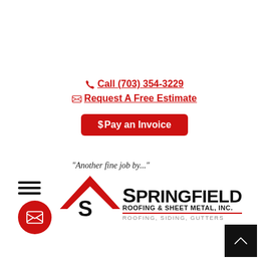Call (703) 354-3229
Request A Free Estimate
$ Pay an Invoice
"Another fine job by..."
[Figure (logo): Springfield Roofing & Sheet Metal, Inc. logo with red chevron/roof shape and company name. Tagline: ROOFING, SIDING, GUTTERS]